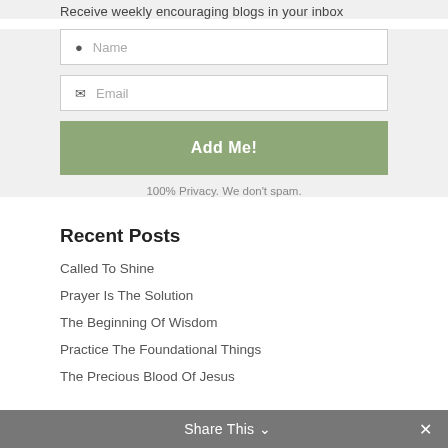Receive weekly encouraging blogs in your inbox
Name
Email
Add Me!
100% Privacy. We don't spam.
Recent Posts
Called To Shine
Prayer Is The Solution
The Beginning Of Wisdom
Practice The Foundational Things
The Precious Blood Of Jesus
Share This ∨  ✕